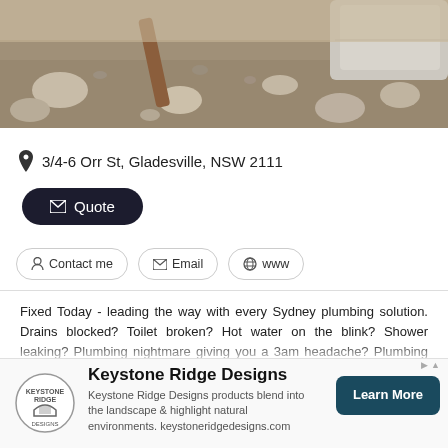[Figure (photo): Outdoor photo showing excavated ground with rocks, soil, and what appears to be a pipe or wooden stake, with concrete or stone blocks visible in the upper right]
3/4-6 Orr St, Gladesville, NSW 2111
✉ Quote
Contact me
Email
www
Fixed Today - leading the way with every Sydney plumbing solution. Drains blocked? Toilet broken? Hot water on the blink? Shower leaking? Plumbing nightmare giving you a 3am headache? Plumbing problems are always a pain, but you can get them fixed ... today! Fixed Today is the way to get your plumbing hassle ticked off properly the first time nd, with experienced, friendly professionals standing by in your local
[Figure (logo): Keystone Ridge Designs circular logo]
Keystone Ridge Designs
Keystone Ridge Designs products blend into the landscape & highlight natural environments. keystoneridgedesigns.com
Learn More